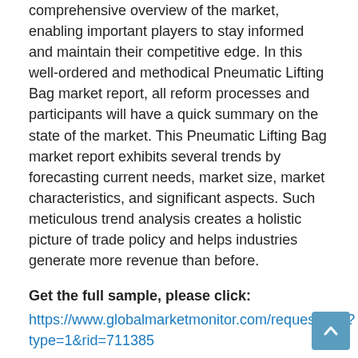comprehensive overview of the market, enabling important players to stay informed and maintain their competitive edge. In this well-ordered and methodical Pneumatic Lifting Bag market report, all reform processes and participants will have a quick summary on the state of the market. This Pneumatic Lifting Bag market report exhibits several trends by forecasting current needs, market size, market characteristics, and significant aspects. Such meticulous trend analysis creates a holistic picture of trade policy and helps industries generate more revenue than before.
Get the full sample, please click:
https://www.globalmarketmonitor.com/request.php?type=1&rid=711385
This report on the Pneumatic Lifting Bag market also focuses on the company which greatly helps in the development of the market. To maintain their dominant position in the market, companies constantly focus on producing the latest innovations, tactics, improvements, massive contracts and systems. This